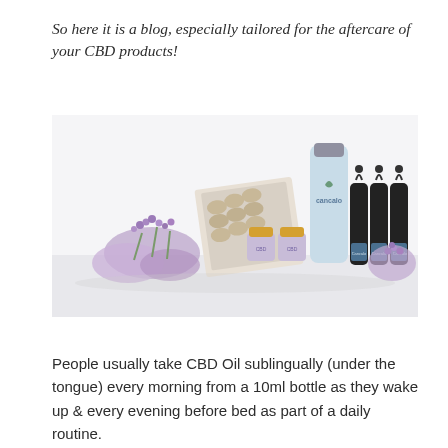So here it is a blog, especially tailored for the aftercare of your CBD products!
[Figure (photo): A flat-lay product photo showing various CBD products including capsule blister packs, small purple jars, a tall light-blue branded bottle (Cancalo), three dark dropper bottles, and purple lavender flowers arranged on a white surface.]
People usually take CBD Oil sublingually (under the tongue) every morning from a 10ml bottle as they wake up & every evening before bed as part of a daily routine.